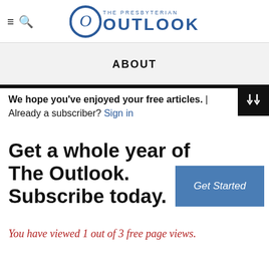The Presbyterian Outlook
ABOUT
We hope you've enjoyed your free articles. | Already a subscriber? Sign in
Get a whole year of The Outlook. Subscribe today.
Get Started
You have viewed 1 out of 3 free page views.